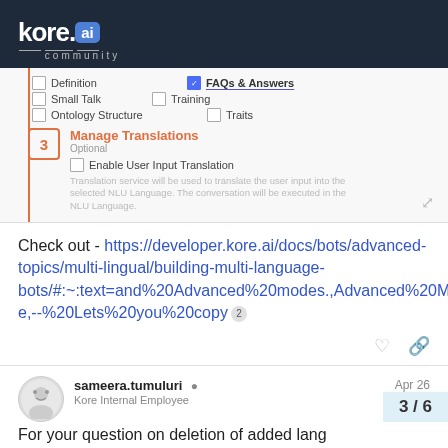kore.ai community
[Figure (screenshot): Screenshot of Kore.ai bot settings showing step 3 Manage Translations with checkboxes for Definition, FAQs & Answers (checked), Small Talk, Training, Ontology Structure, Traits, and Enable User Input Translation option.]
Check out - https://developer.kore.ai/docs/bots/advanced-topics/multi-lingual/building-multi-language-bots/#:~:text=and%20Advanced%20modes.,Advanced%20Mode,--%20Lets%20you%20copy 2
sameera.tumuluri
Kore Internal Employee
Apr 26
For your question on deletion of added lang
3 / 6